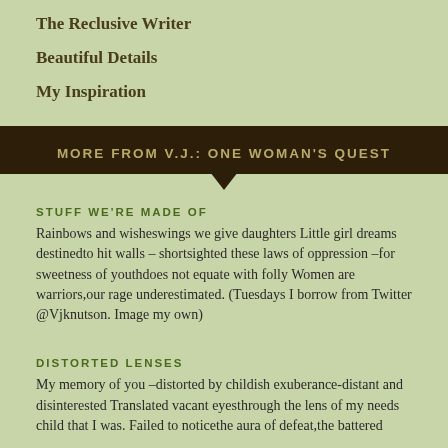The Reclusive Writer
Beautiful Details
My Inspiration
MORE FROM V.J.: ONE WOMAN'S QUEST
STUFF WE'RE MADE OF
Rainbows and wisheswings we give daughters Little girl dreams destinedto hit walls – shortsighted these laws of oppression –for sweetness of youthdoes not equate with folly Women are warriors,our rage underestimated. (Tuesdays I borrow from Twitter @Vjknutson. Image my own)
DISTORTED LENSES
My memory of you –distorted by childish exuberance-distant and disinterested Translated vacant eyesthrough the lens of my needs child that I was. Failed to noticethe aura of defeat,the battered